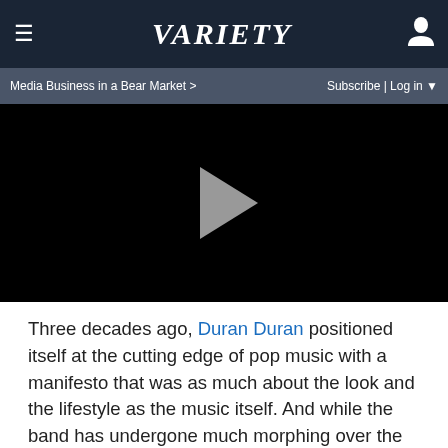≡  VARIETY  👤
Media Business in a Bear Market >   Subscribe | Log in ▼
[Figure (screenshot): Black video player with a light gray triangular play button in the center]
Three decades ago, Duran Duran positioned itself at the cutting edge of pop music with a manifesto that was as much about the look and the lifestyle as the music itself. And while the band has undergone much morphing over the intervening years — hitting the mainstream, receding into the shadows and then re-emerging as one of the biggest draws on the Gen X nostalgia circuit — its members haven't given up breaking new ground.